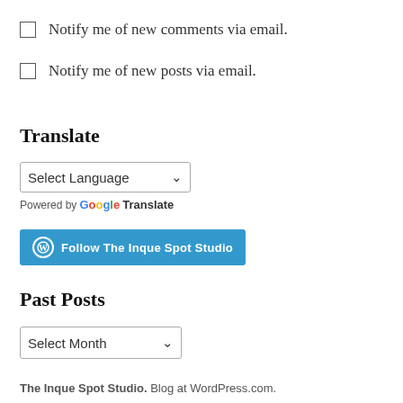Notify me of new comments via email.
Notify me of new posts via email.
Translate
[Figure (screenshot): Google Translate language selector dropdown showing 'Select Language' with a dropdown arrow, and 'Powered by Google Translate' text below]
[Figure (screenshot): WordPress Follow button with WordPress circle icon and text 'Follow The Inque Spot Studio' on teal/blue background]
Past Posts
[Figure (screenshot): Dropdown selector showing 'Select Month' with dropdown arrow]
The Inque Spot Studio. Blog at WordPress.com.